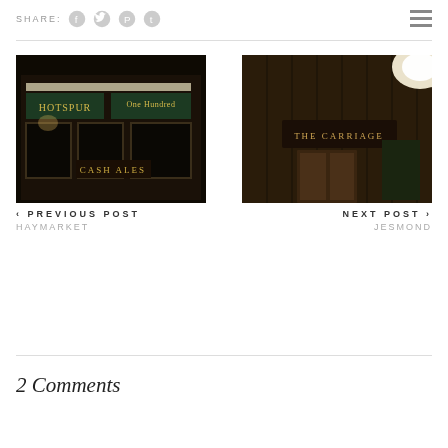SHARE: [social icons: Facebook, Twitter, Pinterest, Tumblr] [hamburger menu]
[Figure (photo): Nighttime exterior photo of a pub named Hotspur with illuminated signage reading 'One Hundred' and 'Cash Ales', dark atmospheric lighting]
‹ PREVIOUS POST
HAYMARKET
[Figure (photo): Nighttime exterior photo of The Carriage pub, wooden facade with bright light flare in upper right corner]
NEXT POST ›
JESMOND
2 Comments